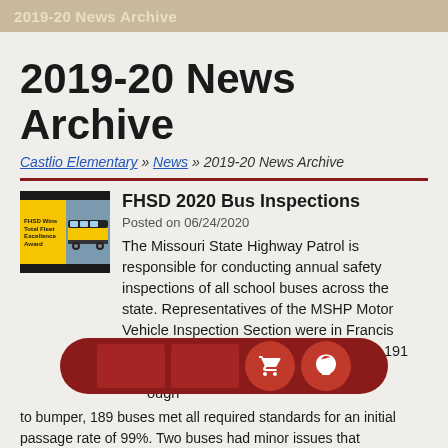2019-20 News Archive
2019-20 News Archive
Castlio Elementary » News » 2019-20 News Archive
[Figure (illustration): FHSD Wins Total Fleet Excellence Award thumbnail with yellow school bus image]
FHSD 2020 Bus Inspections
Posted on 06/24/2020
The Missouri State Highway Patrol is responsible for conducting annual safety inspections of all school buses across the state. Representatives of the MSHP Motor Vehicle Inspection Section were in Francis Howell on June 17 and 18 to inspect the 191 buses in the FHSD transportation fleet. After a thorough bumper to bumper, 189 buses met all required standards for an initial passage rate of 99%. Two buses had minor issues that